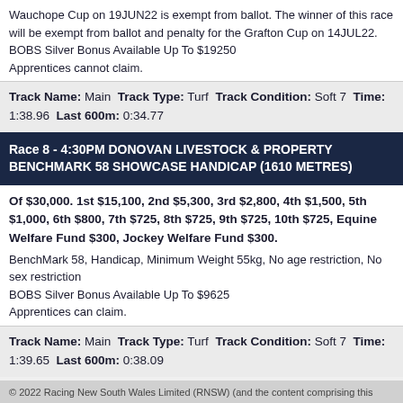Wauchope Cup on 19JUN22 is exempt from ballot. The winner of this race will be exempt from ballot and penalty for the Grafton Cup on 14JUL22. BOBS Silver Bonus Available Up To $19250 Apprentices cannot claim.
Track Name: Main Track Type: Turf Track Condition: Soft 7 Time: 1:38.96 Last 600m: 0:34.77
Race 8 - 4:30PM DONOVAN LIVESTOCK & PROPERTY BENCHMARK 58 SHOWCASE HANDICAP (1610 METRES)
Of $30,000. 1st $15,100, 2nd $5,300, 3rd $2,800, 4th $1,500, 5th $1,000, 6th $800, 7th $725, 8th $725, 9th $725, 10th $725, Equine Welfare Fund $300, Jockey Welfare Fund $300. BenchMark 58, Handicap, Minimum Weight 55kg, No age restriction, No sex restriction BOBS Silver Bonus Available Up To $9625 Apprentices can claim.
Track Name: Main Track Type: Turf Track Condition: Soft 7 Time: 1:39.65 Last 600m: 0:38.09
© 2022 Racing New South Wales Limited (RNSW) (andthe content comprising this